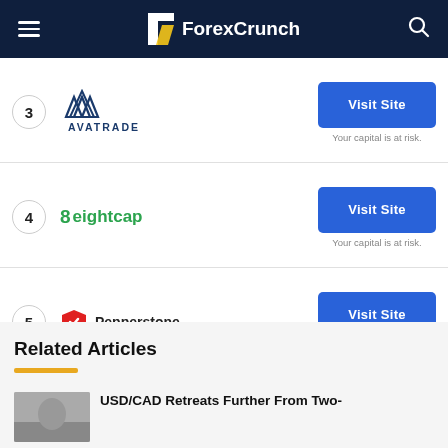ForexCrunch
3 AvaTrade – Visit Site. Your capital is at risk.
4 Eightcap – Visit Site. Your capital is at risk.
5 Pepperstone – Visit Site. Your capital is at risk.
Related Articles
USD/CAD Retreats Further From Two-